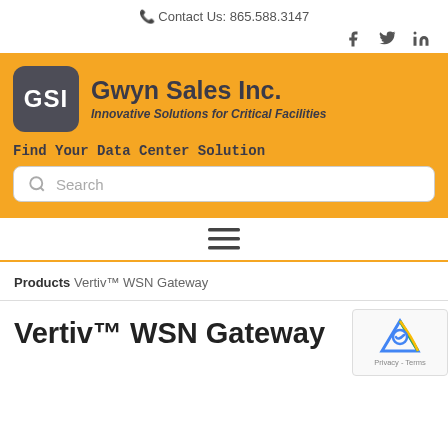Contact Us: 865.588.3147
[Figure (logo): GSI Gwyn Sales Inc. logo with orange banner background and tagline Innovative Solutions for Critical Facilities]
Find Your Data Center Solution
Search
[Figure (other): Hamburger menu icon (three horizontal lines)]
Products Vertiv™ WSN Gateway
Vertiv™ WSN Gateway